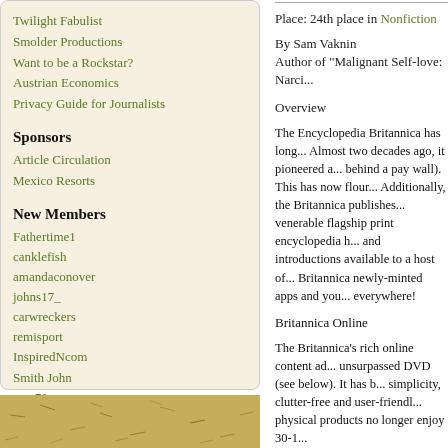Twilight Fabulist
Smolder Productions
Want to be a Rockstar?
Austrian Economics
Privacy Guide for Journalists
Sponsors
Article Circulation
Mexico Resorts
New Members
Fathertime1
canklefish
amandaconover
johns17_
carwreckers
remisport
InspiredNcom
Smith John
reza70
alphamoto
[Figure (photo): Sandy/earthy textured background with small scattered marks, tan and brown tones]
Place: 24th place in Nonfiction
By Sam Vaknin
Author of "Malignant Self-love: Narci..."
Overview
The Encyclopedia Britannica has long... Almost two decades ago, it pioneered a... behind a pay wall). This has now flour... Additionally, the Britannica publishes... venerable flagship print encyclopedia h... and introductions available to a host of... Britannica newly-minted apps and you... everywhere!
Britannica Online
The Britannica's rich online content ad... unsurpassed DVD (see below). It has b... simplicity, clutter-free and user-friendl... physical products no longer enjoy 30-1...
Admittedly, at 70-120 USD annually th... institutions, universities, schools, and l... edition as well as editions geared at bu... special features such as Image Quest (c... including Pathways: Science. Journalis... well to consider an affordable, more li...